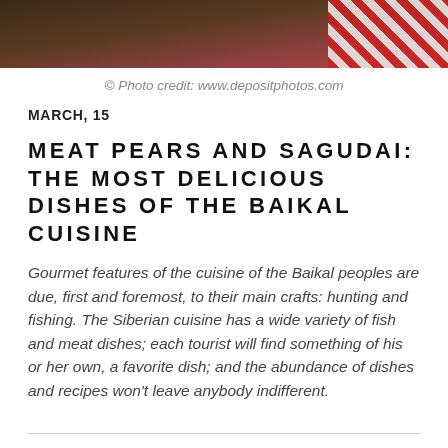[Figure (photo): Top portion of a food/dining photo showing a dark wooden table surface with a red and white checkered cloth or napkin visible on the right side.]
© Photo credit: www.depositphotos.com
MARCH, 15
MEAT PEARS AND SAGUDAI: THE MOST DELICIOUS DISHES OF THE BAIKAL CUISINE
Gourmet features of the cuisine of the Baikal peoples are due, first and foremost, to their main crafts: hunting and fishing. The Siberian cuisine has a wide variety of fish and meat dishes; each tourist will find something of his or her own, a favorite dish; and the abundance of dishes and recipes won't leave anybody indifferent.